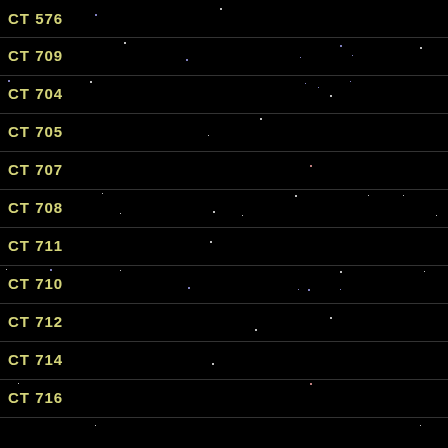[Figure (photo): Astronomical survey image showing multiple catalog strips labeled CT 576, CT 709, CT 704, CT 705, CT 707, CT 708, CT 711, CT 710, CT 712, CT 714, CT 716, each separated by horizontal lines on a black background with scattered stars]
CT 576
CT 709
CT 704
CT 705
CT 707
CT 708
CT 711
CT 710
CT 712
CT 714
CT 716